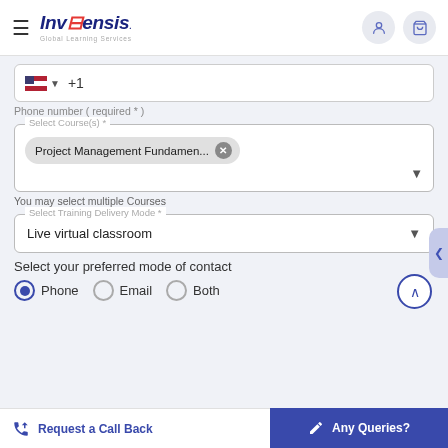Invensis Global Learning Services
+1
Phone number ( required * )
Select Course(s) *
Project Management Fundamen...
You may select multiple Courses
Select Training Delivery Mode *
Live virtual classroom
Select your preferred mode of contact
Phone   Email   Both
Request a Call Back   Any Queries?